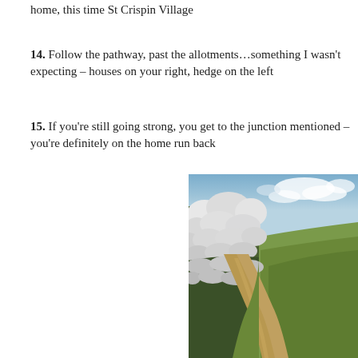home, this time St Crispin Village
14. Follow the pathway, past the allotments…something I wasn't expecting – houses on your right, hedge on the left
15. If you're still going strong, you get to the junction mentioned – you're definitely on the home run back
[Figure (photo): A narrow dirt footpath winding uphill along a hedgerow of white-blossoming trees (blackthorn/hawthorn), with green grass hillside and a partly cloudy blue sky in the background.]